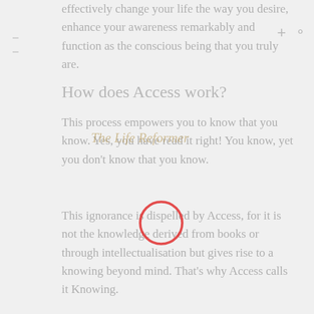effectively change your life the way you desire, enhance your awareness remarkably and function as the conscious being that you truly are.
How does Access work?
This process empowers you to know that you know. Yes, you have read it right! You know, yet you don't know that you know.
[Figure (illustration): Watermark text reading 'The Life Reformer' in italic gold script overlaid on the body text]
[Figure (illustration): Red circle annotation drawn over the text in the second body paragraph, approximately centered on the words 'is dis']
This ignorance is dispelled by Access, for it is not the knowledge derived from books or through intellectualisation but gives rise to a knowing beyond mind. That's why Access calls it Knowing.